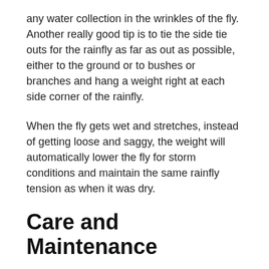any water collection in the wrinkles of the fly. Another really good tip is to tie the side tie outs for the rainfly as far as out as possible, either to the ground or to bushes or branches and hang a weight right at each side corner of the rainfly.
When the fly gets wet and stretches, instead of getting loose and saggy, the weight will automatically lower the fly for storm conditions and maintain the same rainfly tension as when it was dry.
Care and Maintenance
Dry and repack damp gear to avoid mildew, mold or color bleeding. To clean, hand wash using mild detergent, warm water rinse and air dry. Inspect for damage after each use. Children under 12 years must be supervised. Do not